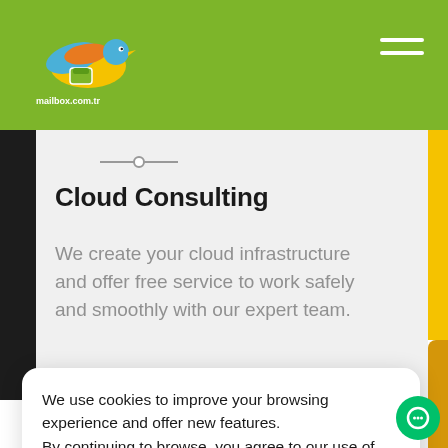mailbox.com.tr — navigation header with logo and hamburger menu
[Figure (logo): mailbox.com.tr bird/mailbox logo on green header]
Cloud Consulting
We create your cloud infrastructure and offer free service to work safely and smoothly with our expert team.
We use cookies to improve your browsing experience and offer new features. By continuing to browse, you agree to our use of cookies.